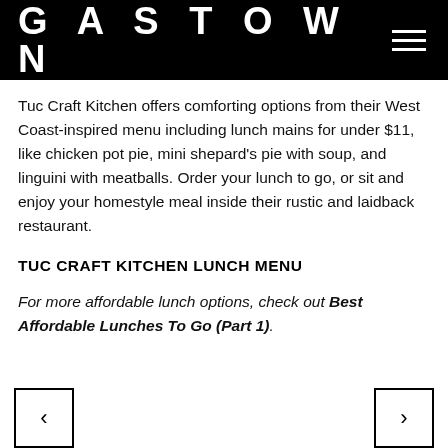GASTOWN
Tuc Craft Kitchen offers comforting options from their West Coast-inspired menu including lunch mains for under $11, like chicken pot pie, mini shepard's pie with soup, and linguini with meatballs. Order your lunch to go, or sit and enjoy your homestyle meal inside their rustic and laidback restaurant.
TUC CRAFT KITCHEN LUNCH MENU
For more affordable lunch options, check out Best Affordable Lunches To Go (Part 1).